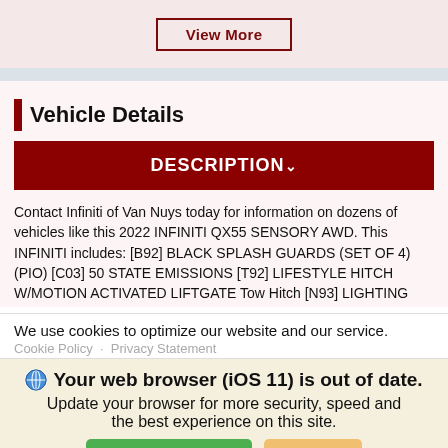[Figure (other): View More button with dark red border and text]
Vehicle Details
DESCRIPTION v
Contact Infiniti of Van Nuys today for information on dozens of vehicles like this 2022 INFINITI QX55 SENSORY AWD. This INFINITI includes: [B92] BLACK SPLASH GUARDS (SET OF 4) (PIO) [C03] 50 STATE EMISSIONS [T92] LIFESTYLE HITCH W/MOTION ACTIVATED LIFTGATE Tow Hitch [N93] LIGHTING PACKAGE *Note - For third party subscriptions or services, please contact the dealer for more.
We use cookies to optimize our website and our service.
Cookie Policy · Privacy Statement
Your web browser (iOS 11) is out of date. Update your browser for more security, speed and the best experience on this site.
Update browser
Ignore